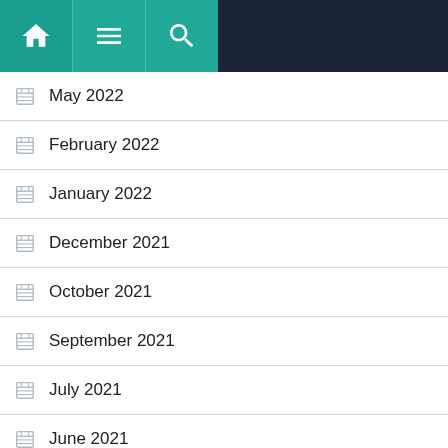Navigation bar with home, menu, and search icons
May 2022
February 2022
January 2022
December 2021
October 2021
September 2021
July 2021
June 2021
May 2021
April 2021